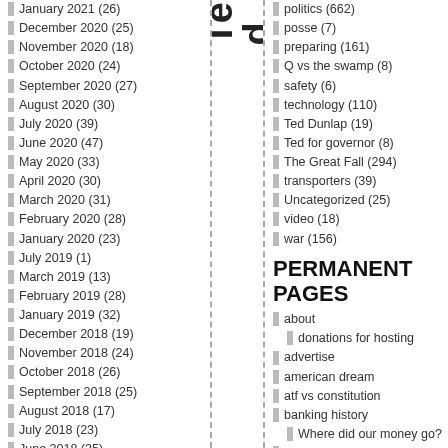January 2021 (26)
December 2020 (25)
November 2020 (18)
October 2020 (24)
September 2020 (27)
August 2020 (30)
July 2020 (39)
June 2020 (47)
May 2020 (33)
April 2020 (30)
March 2020 (31)
February 2020 (28)
January 2020 (23)
July 2019 (1)
March 2019 (13)
February 2019 (28)
January 2019 (32)
December 2018 (19)
November 2018 (24)
October 2018 (26)
September 2018 (25)
August 2018 (17)
July 2018 (23)
June 2018 (35)
May 2018 (22)
April 2018 (32)
March 2018 (32)
politics (662)
posse (7)
preparing (161)
Q vs the swamp (8)
safety (6)
technology (110)
Ted Dunlap (19)
Ted for governor (8)
The Great Fall (294)
transporters (39)
Uncategorized (25)
video (18)
war (156)
PERMANENT PAGES
about
donations for hosting
advertise
american dream
atf vs constitution
banking history
Where did our money go?
bilderberg group
Clinton body count